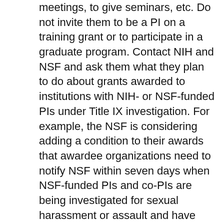meetings, to give seminars, etc. Do not invite them to be a PI on a training grant or to participate in a graduate program. Contact NIH and NSF and ask them what they plan to do about grants awarded to institutions with NIH- or NSF-funded PIs under Title IX investigation. For example, the NSF is considering adding a condition to their awards that awardee organizations need to notify NSF within seven days when NSF-funded PIs and co-PIs are being investigated for sexual harassment or assault and have been placed on administrative leave. Ask the NIH whether they are considering a similar condition on their grants. Here are some other suggestions.
Racism is also a major issue in STEM: I haven't even touched racism, or the intersection between...